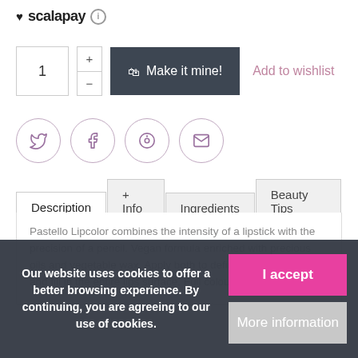[Figure (logo): Scalapay logo with heart icon and info circle]
[Figure (screenshot): Quantity selector with +/- stepper, Make it mine button (dark grey), and Add to wishlist link (pink)]
[Figure (infographic): Social sharing icons: Twitter, Facebook, Pinterest, Email — circular outlines in purple/mauve]
Description | + Info | Ingredients | Beauty Tips
Pastello Lipcolor combines the intensity of a lipstick with the precision of a pencil. Vegan formula enriched with precious oils and vegetable wax. Apply both to define the contour of lips and fill in the entire lips surface. Full colour, high coverage and
Our website uses cookies to offer a better browsing experience. By continuing, you are agreeing to our use of cookies.
I accept
More information